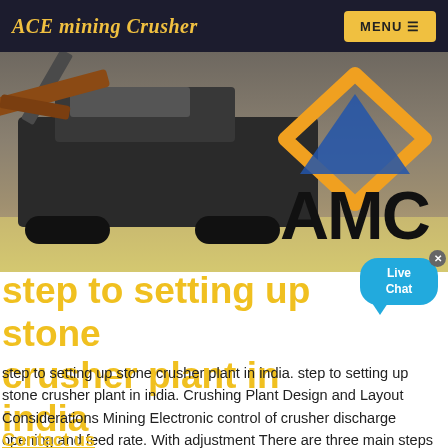ACE mining Crusher
[Figure (photo): A mining/stone crusher machine on tracks in a quarry/gravel setting, with the AMC logo (orange diamond with blue triangle, bold AMC text) visible on the right side of the banner image.]
step to setting up stone crusher plant in india
step to setting up stone crusher plant in india. step to setting up stone crusher plant in india. Crushing Plant Design and Layout Considerations Mining Electronic control of crusher discharge opening and feed rate. With adjustment There are three main steps in designing a good crushing plant...
Contact us